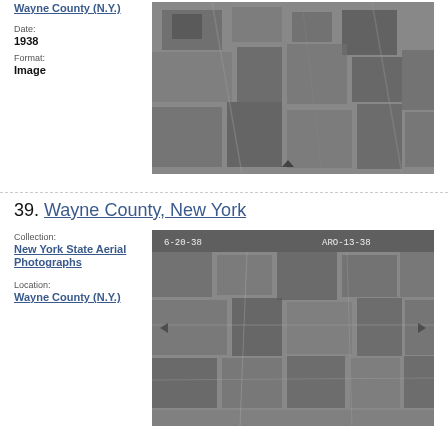Wayne County (N.Y.)
Date: 1938
Format: Image
[Figure (photo): Black and white aerial photograph of Wayne County, NY farmland from 1938]
39. Wayne County, New York
Collection: New York State Aerial Photographs
Location: Wayne County (N.Y.)
[Figure (photo): Black and white aerial photograph of Wayne County, NY from 6-20-38, labeled ARO-13-38]